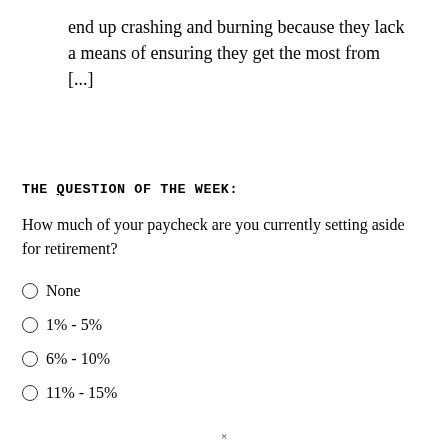end up crashing and burning because they lack a means of ensuring they get the most from [...]
THE QUESTION OF THE WEEK:
How much of your paycheck are you currently setting aside for retirement?
None
1% - 5%
6% - 10%
11% - 15%